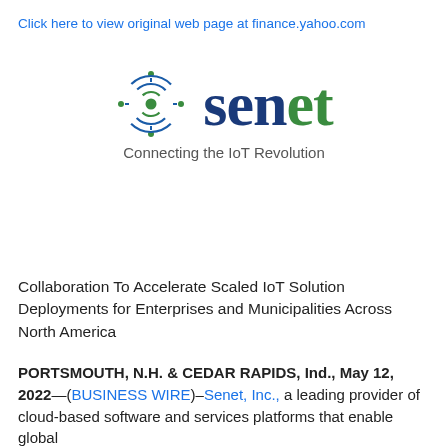Click here to view original web page at finance.yahoo.com
[Figure (logo): Senet logo: circular IoT signal icon on the left, 'senet' wordmark in blue and green serif font, tagline 'Connecting the IoT Revolution' in grey below]
Collaboration To Accelerate Scaled IoT Solution Deployments for Enterprises and Municipalities Across North America
PORTSMOUTH, N.H. & CEDAR RAPIDS, Ind., May 12, 2022—(BUSINESS WIRE)–Senet, Inc., a leading provider of cloud-based software and services platforms that enable global